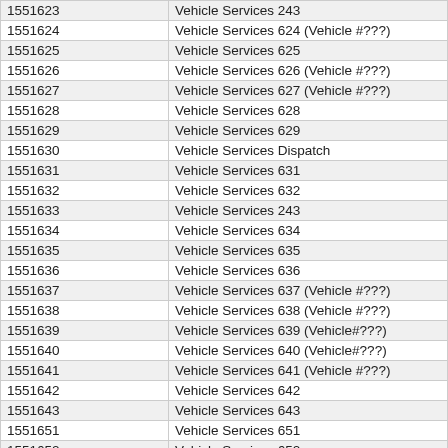| 1551623 | Vehicle Services 243 |
| 1551624 | Vehicle Services 624 (Vehicle #???) |
| 1551625 | Vehicle Services 625 |
| 1551626 | Vehicle Services 626 (Vehicle #???) |
| 1551627 | Vehicle Services 627 (Vehicle #???) |
| 1551628 | Vehicle Services 628 |
| 1551629 | Vehicle Services 629 |
| 1551630 | Vehicle Services Dispatch |
| 1551631 | Vehicle Services 631 |
| 1551632 | Vehicle Services 632 |
| 1551633 | Vehicle Services 243 |
| 1551634 | Vehicle Services 634 |
| 1551635 | Vehicle Services 635 |
| 1551636 | Vehicle Services 636 |
| 1551637 | Vehicle Services 637 (Vehicle #???) |
| 1551638 | Vehicle Services 638 (Vehicle #???) |
| 1551639 | Vehicle Services 639 (Vehicle#???) |
| 1551640 | Vehicle Services 640 (Vehicle#???) |
| 1551641 | Vehicle Services 641 (Vehicle #???) |
| 1551642 | Vehicle Services 642 |
| 1551643 | Vehicle Services 643 |
| 1551651 | Vehicle Services 651 |
| 1551652 | Vehicle Services 652 |
| 1551653 | Vehicle Services 653 |
| 1551654 | Vehicle Services 654 |